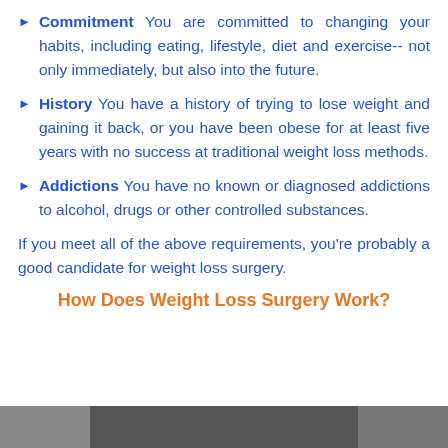Commitment You are committed to changing your habits, including eating, lifestyle, diet and exercise-- not only immediately, but also into the future.
History You have a history of trying to lose weight and gaining it back, or you have been obese for at least five years with no success at traditional weight loss methods.
Addictions You have no known or diagnosed addictions to alcohol, drugs or other controlled substances.
If you meet all of the above requirements, you're probably a good candidate for weight loss surgery.
How Does Weight Loss Surgery Work?
[Figure (photo): Photo strip at bottom of page showing faces/people, partially visible]